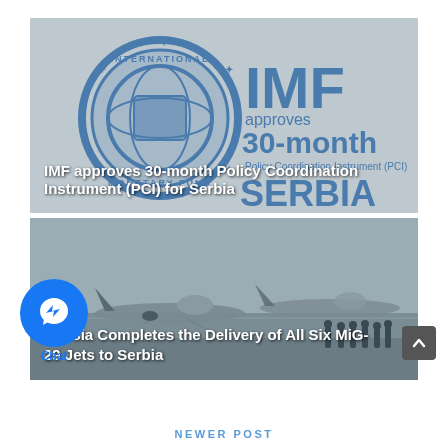[Figure (photo): IMF logo with globe and text 'IMF approves 30-month Policy Coordination Instrument (PCI) SERBIA' on grey background]
IMF approves 30-month Policy Coordination Instrument (PCI) for Serbia
[Figure (photo): MiG-29 military jets on a tarmac with ground crew standing nearby, overcast sky]
Russia Completes the Delivery of All Six MiG-29 Jets to Serbia
NEWER POST